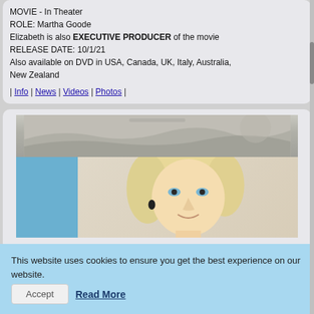MOVIE - In Theater
ROLE: Martha Goode
Elizabeth is also EXECUTIVE PRODUCER of the movie
RELEASE DATE: 10/1/21
Also available on DVD in USA, Canada, UK, Italy, Australia, New Zealand
| Info | News | Videos | Photos |
[Figure (photo): A blonde woman with blue eyes, wearing dark earrings, photographed indoors with a light background and a blue element on the left side of the frame.]
This website uses cookies to ensure you get the best experience on our website. Accept Read More